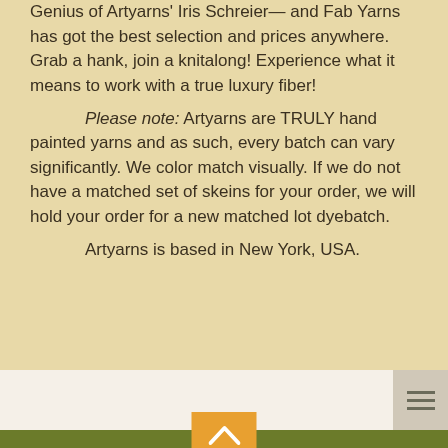Genius of Artyarns' Iris Schreier— and Fab Yarns has got the best selection and prices anywhere. Grab a hank, join a knitalong! Experience what it means to work with a true luxury fiber!

Please note: Artyarns are TRULY hand painted yarns and as such, every batch can vary significantly. We color match visually. If we do not have a matched set of skeins for your order, we will hold your order for a new matched lot dyebatch.

Artyarns is based in New York, USA.
[Figure (other): White navigation bar with hamburger menu icon (three horizontal lines) on the right side]
[Figure (other): Olive green footer with orange scroll-to-top button (chevron up arrow), chat bubble icon on left, and copyright text]
FABULOUSYARN.COM ©2020 ALL RIGHTS RESERVED.